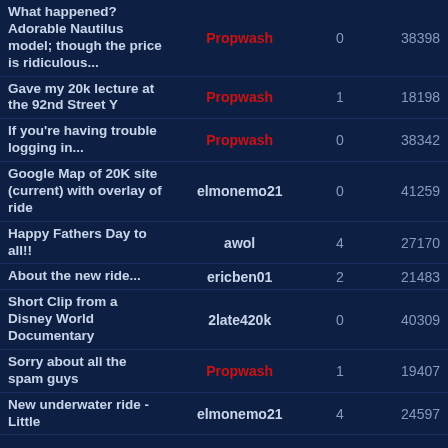| Title | User | Replies | Views |
| --- | --- | --- | --- |
| What happened? Adorable Nautilus model; though the price is ridiculous... | Propwash | 0 | 38398 |
| Gave my 20k lecture at the 92nd Street Y | Propwash | 1 | 18198 |
| If you're having trouble logging in... | Propwash | 0 | 38342 |
| Google Map of 20K site (current) with overlay of ride | elmonemo21 | 0 | 41259 |
| Happy Fathers Day to all!! | awol | 4 | 27170 |
| About the new ride... | ericben01 | 2 | 21483 |
| Short Clip from a Disney World Documentary | 2late420k | 0 | 40309 |
| Sorry about all the spam guys | Propwash | 1 | 19407 |
| New underwater ride - Little | elmonemo21 | 4 | 24597 |